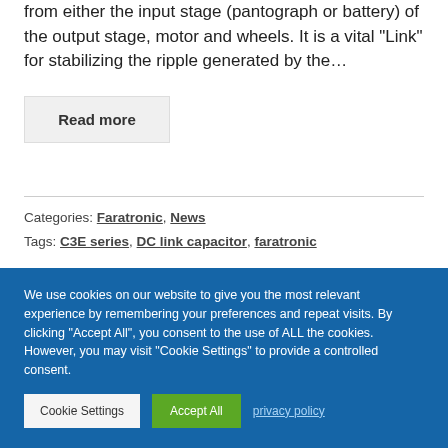from either the input stage (pantograph or battery) of the output stage, motor and wheels. It is a vital “Link” for stabilizing the ripple generated by the…
Read more
Categories: Faratronic, News
Tags: C3E series, DC link capacitor, faratronic
We use cookies on our website to give you the most relevant experience by remembering your preferences and repeat visits. By clicking “Accept All”, you consent to the use of ALL the cookies. However, you may visit “Cookie Settings” to provide a controlled consent.
Cookie Settings   Accept All   privacy policy